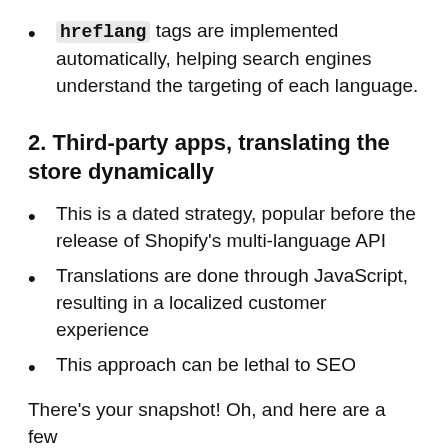hreflang tags are implemented automatically, helping search engines understand the targeting of each language.
2. Third-party apps, translating the store dynamically
This is a dated strategy, popular before the release of Shopify's multi-language API
Translations are done through JavaScript, resulting in a localized customer experience
This approach can be lethal to SEO
There's your snapshot! Oh, and here are a few